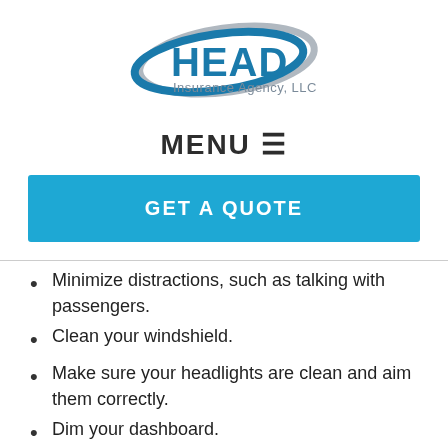[Figure (logo): HEAD Insurance Agency, LLC logo with blue ellipse and stylized text]
MENU ☰
GET A QUOTE
Minimize distractions, such as talking with passengers.
Clean your windshield.
Make sure your headlights are clean and aim them correctly.
Dim your dashboard.